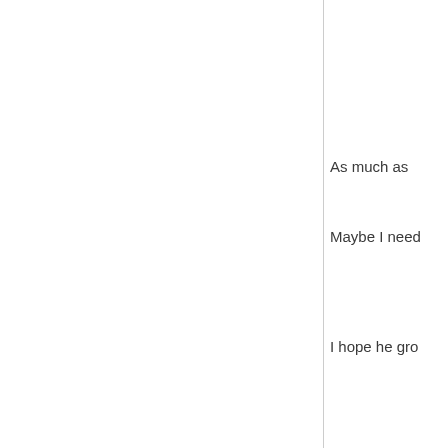As much as
Maybe I need
I hope he gro